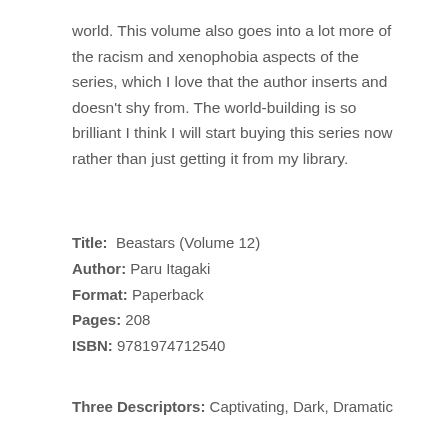world. This volume also goes into a lot more of the racism and xenophobia aspects of the series, which I love that the author inserts and doesn't shy from. The world-building is so brilliant I think I will start buying this series now rather than just getting it from my library.
Title: Beastars (Volume 12)
Author: Paru Itagaki
Format: Paperback
Pages: 208
ISBN: 9781974712540
Three Descriptors: Captivating, Dark, Dramatic